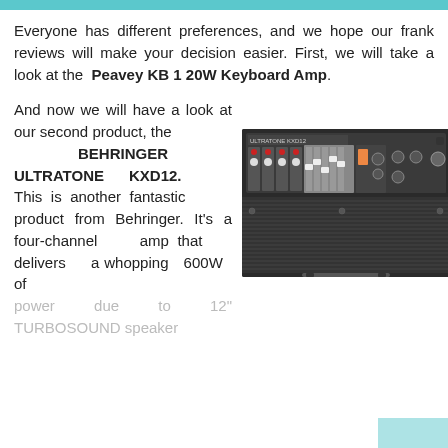Everyone has different preferences, and we hope our frank reviews will make your decision easier. First, we will take a look at the Peavey KB 1 20W Keyboard Amp.
And now we will have a look at our second product, the BEHRINGER ULTRATONE KXD12. This is another fantastic product from Behringer. It's a four-channel amp that delivers a whopping 600W of power due to 12" TURBOSOUND speaker
[Figure (photo): Photo of the Behringer Ultratone KXD12 keyboard amp showing the top panel with controls, knobs, sliders and the front grille.]